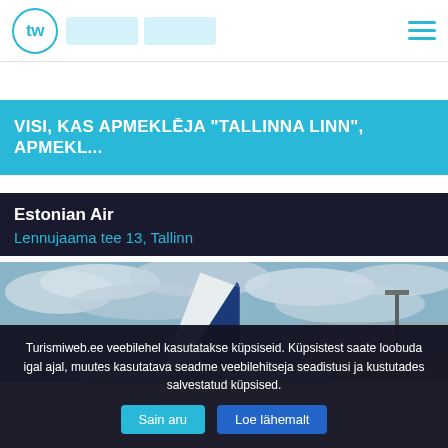tw (logo) | nav tabs | hamburger menu
VISI, KAS APMEKLĒJA "TALLINNA LINN", APMEKL...
Estonian Air
Lennujaama tee 13, Tallinn
[Figure (photo): Tail fin of an Estonian Air airplane against a cloudy sky, with airport infrastructure visible in the background]
Turismiweb.ee veebilehel kasutatakse küpsiseid. Küpsistest saate loobuda igal ajal, muutes kasutatava seadme veebilehitseja seadistusi ja kustutades salvestatud küpsised.
Sain aru | Loe lähemalt